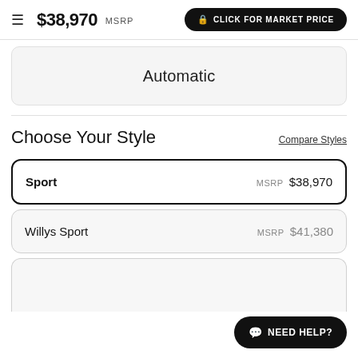$38,970 MSRP  CLICK FOR MARKET PRICE
Automatic
Choose Your Style
Compare Styles
Sport  MSRP $38,970
Willys Sport  MSRP $41,380
NEED HELP?